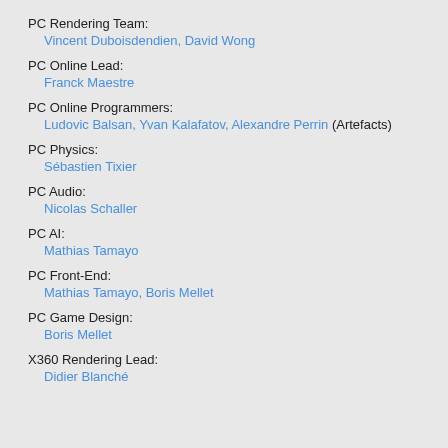PC Rendering Team:
Vincent Duboisdendien, David Wong
PC Online Lead:
Franck Maestre
PC Online Programmers:
Ludovic Balsan, Yvan Kalafatov, Alexandre Perrin (Artefacts)
PC Physics:
Sébastien Tixier
PC Audio:
Nicolas Schaller
PC AI:
Mathias Tamayo
PC Front-End:
Mathias Tamayo, Boris Mellet
PC Game Design:
Boris Mellet
X360 Rendering Lead:
Didier Blanché